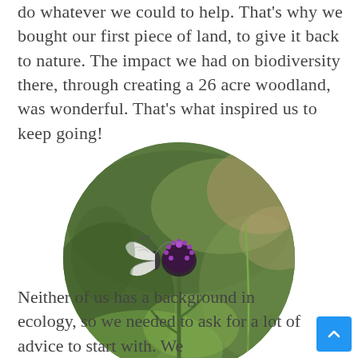do whatever we could to help. That's why we bought our first piece of land, to give it back to nature. The impact we had on biodiversity there, through creating a 26 acre woodland, was wonderful. That's what inspired us to keep going!
[Figure (photo): Oval-shaped photograph of a white butterfly perched on a purple thistle flower, with a blurred green background of grass and foliage.]
Neither of us has a background in ecology, so we needed to ask for a lot of advice to start with. We